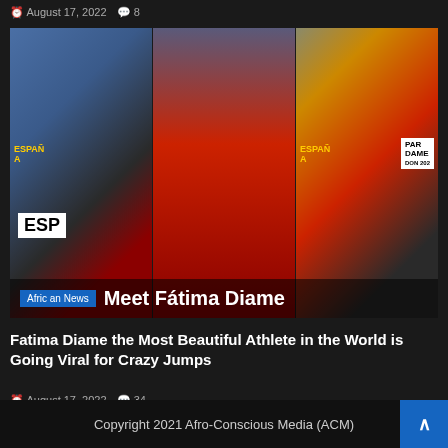August 17, 2022  8
[Figure (photo): Collage of three photos of athlete Fátima Diame in Spanish national athletics kit (red/yellow), overlaid with 'African News' tag and title 'Meet Fátima Diame']
Fatima Diame the Most Beautiful Athlete in the World is Going Viral for Crazy Jumps
August 17, 2022  34
Copyright 2021 Afro-Conscious Media (ACM)